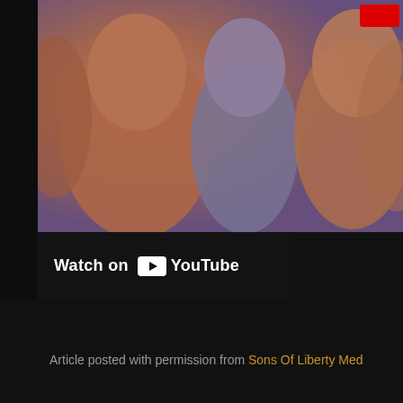[Figure (screenshot): YouTube video thumbnail showing animated 3D cartoon ant/bug characters in warm orange and purple tones, with a red button in the top right corner]
Watch on YouTube
Article posted with permission from Sons Of Liberty Med